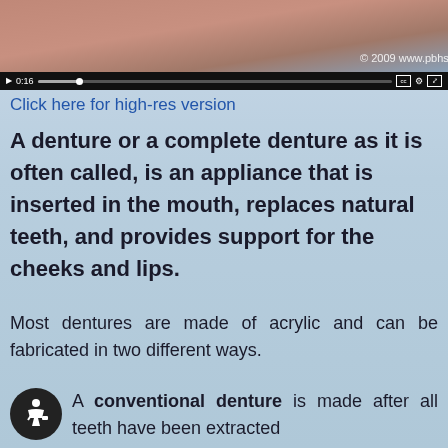[Figure (screenshot): Video player screenshot showing a dental video thumbnail with a mouth/teeth image, copyright 2009 www.pbhs.com, with playback controls showing time 0:16]
Click here for high-res version
A denture or a complete denture as it is often called, is an appliance that is inserted in the mouth, replaces natural teeth, and provides support for the cheeks and lips.
Most dentures are made of acrylic and can be fabricated in two different ways.
A conventional denture is made after all teeth have been extracted